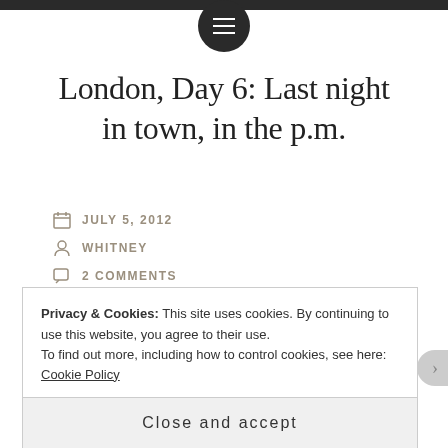London, Day 6: Last night in town, in the p.m.
JULY 5, 2012
WHITNEY
2 COMMENTS
Miss a post, or want to read from the beginning? Click here.
Privacy & Cookies: This site uses cookies. By continuing to use this website, you agree to their use. To find out more, including how to control cookies, see here: Cookie Policy
Close and accept